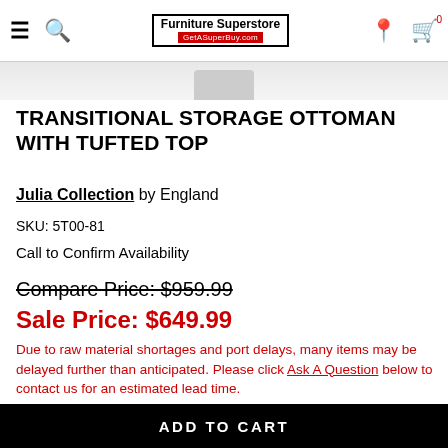[Figure (logo): Furniture Superstore GetASuperBuy.com logo with navigation icons including hamburger menu, search, location pin, and shopping cart]
[Figure (photo): Partial product image visible at top of page showing white transitional storage ottoman with tufted top]
TRANSITIONAL STORAGE OTTOMAN WITH TUFTED TOP
Julia Collection by England
SKU: 5T00-81
Call to Confirm Availability
Compare Price: $959.99
Sale Price: $649.99
Due to raw material shortages and port delays, many items may be delayed further than anticipated. Please click Ask A Question below to contact us for an estimated lead time.